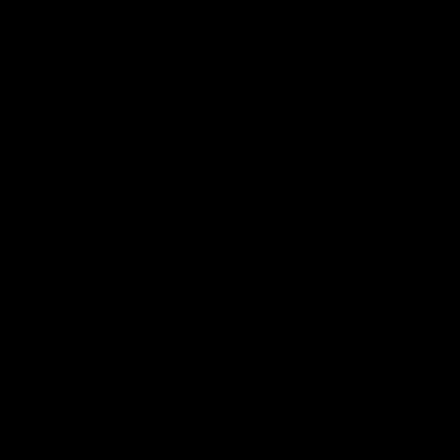great rock and what sound...
Band members are Noel S...
"Into the Skids" isn't due ou... incredible this foursome lay... combining intelligent melo... same time it cajoles you to... gold and platinum standard...
Each song on the album is... boil you senseless as it frie... tempo that strikes directly t... "War Woman" is a superno... new one while leaving the ... displays the same tremend... on the melodic song struct... heavy offerings, this time p... ass kickingest song on the... through a thick, meaty, fuz...
This foursome have fun wit... comparable to any of the b...